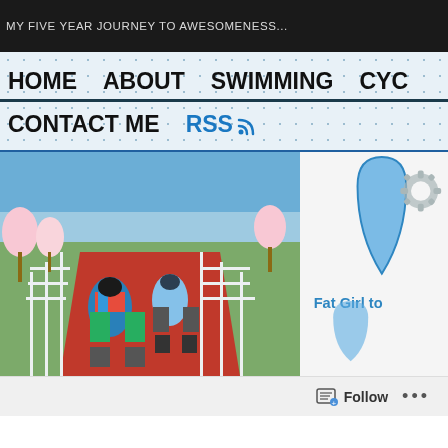MY FIVE YEAR JOURNEY TO AWESOMENESS...
HOME   ABOUT   SWIMMING   CYC
CONTACT ME   RSS
[Figure (photo): Two cyclists riding touring bikes loaded with panniers along a red paved cycle path lined with white fences and blooming trees]
[Figure (logo): Fat Girl to (triathlon/fitness logo) with blue water drop and grey snowflake gear icon]
Follow ...